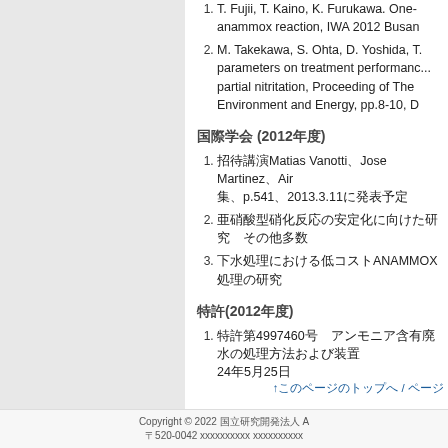1. T. Fujii, T. Kaino, K. Furukawa. One- anammox reaction, IWA 2012 Busan
2. M. Takekawa, S. Ohta, D. Yoshida, T. parameters on treatment performance partial nitritation, Proceeding of The Environment and Energy, pp.8-10, D
国際学会 (2012年度)
1. 招待講演 Matias Vanotti、Jose Martinez、Air 集、p.541、2013.3.11に発表予定
2. 亜硝酸型硝化反応の安定化に向けた研究　その他多数
3. 下水処理における低コストANAMMOX処理の研究
特許(2012年度)
1. 特許第4997460号　アンモニア含有廃水の処理方法および装置　24年5月25日
↑このページのトップへ / ページ
Copyright © 2022 国立研究開発法人 A 〒520-0042 xxxxxxxx xxxxxxxxxx